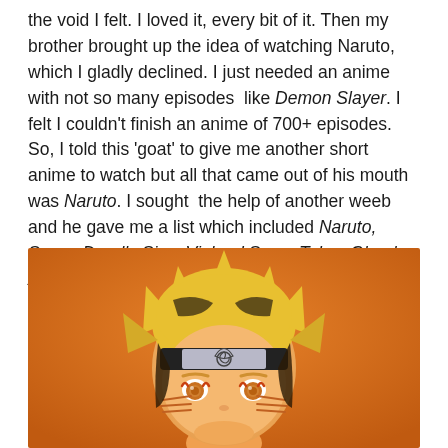the void I felt. I loved it, every bit of it. Then my brother brought up the idea of watching Naruto, which I gladly declined. I just needed an anime with not so many episodes  like Demon Slayer. I felt I couldn't finish an anime of 700+ episodes. So, I told this 'goat' to give me another short anime to watch but all that came out of his mouth was Naruto. I sought  the help of another weeb and he gave me a list which included Naruto, Seven Deadly Sins, Vinland Saga, Tokyo Ghoul, Attack on Titans (AOT) and some others.
[Figure (illustration): Illustration of Naruto Uzumaki anime character with yellow spiky hair, a dark headband with a leaf village symbol, orange markings on his cheeks, and orange/yellow eyes, against an orange background.]